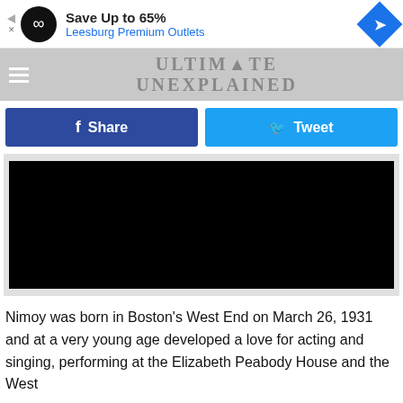[Figure (other): Advertisement banner: Save Up to 65% Leesburg Premium Outlets with logo icon and navigation arrow]
[Figure (logo): Ultimate Unexplained website logo with stylized text and all-seeing eye symbol]
[Figure (other): Facebook Share button (dark blue) and Twitter Tweet button (light blue)]
[Figure (other): Embedded video player showing black/blank video]
Nimoy was born in Boston's West End on March 26, 1931 and at a very young age developed a love for acting and singing, performing at the Elizabeth Peabody House and the West